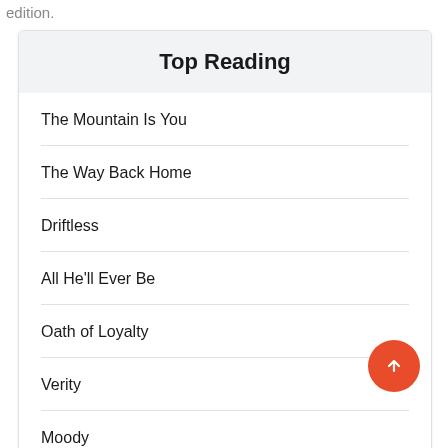edition.
Top Reading
The Mountain Is You
The Way Back Home
Driftless
All He'll Ever Be
Oath of Loyalty
Verity
Moody
The Dia